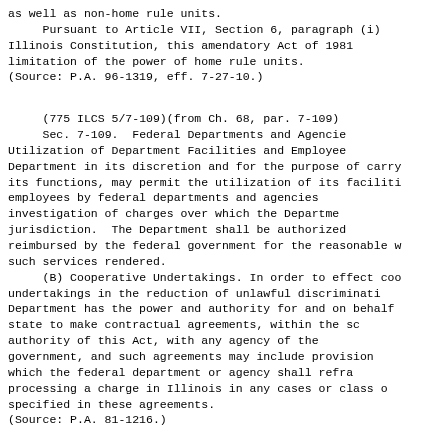as well as non-home rule units.
     Pursuant to Article VII, Section 6, paragraph (i) Illinois Constitution, this amendatory Act of 1981 limitation of the power of home rule units.
(Source: P.A. 96-1319, eff. 7-27-10.)
(775 ILCS 5/7-109)(from Ch. 68, par. 7-109)
     Sec. 7-109.  Federal Departments and Agencies; Utilization of Department Facilities and Employees. Department in its discretion and for the purpose of carrying its functions, may permit the utilization of its facilities employees by federal departments and agencies in investigation of charges over which the Department has jurisdiction.  The Department shall be authorized to be reimbursed by the federal government for the reasonable value of such services rendered.
     (B) Cooperative Undertakings. In order to effect cooperative undertakings in the reduction of unlawful discrimination, the Department has the power and authority for and on behalf of the state to make contractual agreements, within the scope of authority of this Act, with any agency of the federal government, and such agreements may include provisions under which the federal department or agency shall refrain from processing a charge in Illinois in any cases or class of cases specified in these agreements.
(Source: P.A. 81-1216.)
(775 ILCS 5/7-109.1)(from Ch. 68, par. 7-109.1)
     Sec. 7-109.1.  Federal or State court proceedings.